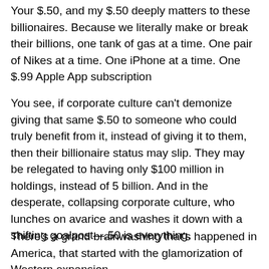Your $.50, and my $.50 deeply matters to these billionaires. Because we literally make or break their billions, one tank of gas at a time. One pair of Nikes at a time. One iPhone at a time. One $.99 Apple App subscription
You see, if corporate culture can't demonize giving that same $.50 to someone who could truly benefit from it, instead of giving it to them, then their billionaire status may slip. They may be relegated to having only $100 million in holdings, instead of 5 billion. And in the desperate, collapsing corporate culture, who lunches on avarice and washes it down with a shifting goalpost—.50 is everything.
There's a grand brainwashing that's happened in America, that started with the glamorization of Western expansion